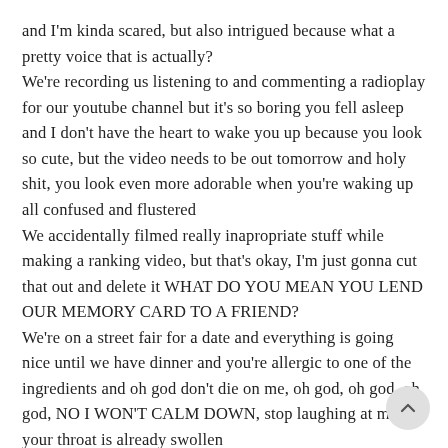and I'm kinda scared, but also intrigued because what a pretty voice that is actually?
We're recording us listening to and commenting a radioplay for our youtube channel but it's so boring you fell asleep and I don't have the heart to wake you up because you look so cute, but the video needs to be out tomorrow and holy shit, you look even more adorable when you're waking up all confused and flustered
We accidentally filmed really inapropriate stuff while making a ranking video, but that's okay, I'm just gonna cut that out and delete it WHAT DO YOU MEAN YOU LEND OUR MEMORY CARD TO A FRIEND?
We're on a street fair for a date and everything is going nice until we have dinner and you're allergic to one of the ingredients and oh god don't die on me, oh god, oh god, oh god, NO I WON'T CALM DOWN, stop laughing at me, your throat is already swollen